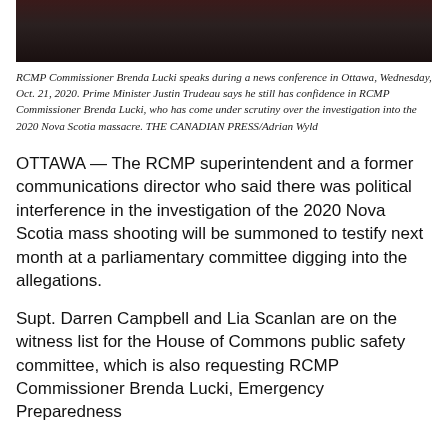[Figure (photo): Dark/blurred photo of RCMP Commissioner Brenda Lucki at a news conference]
RCMP Commissioner Brenda Lucki speaks during a news conference in Ottawa, Wednesday, Oct. 21, 2020. Prime Minister Justin Trudeau says he still has confidence in RCMP Commissioner Brenda Lucki, who has come under scrutiny over the investigation into the 2020 Nova Scotia massacre. THE CANADIAN PRESS/Adrian Wyld
OTTAWA — The RCMP superintendent and a former communications director who said there was political interference in the investigation of the 2020 Nova Scotia mass shooting will be summoned to testify next month at a parliamentary committee digging into the allegations.
Supt. Darren Campbell and Lia Scanlan are on the witness list for the House of Commons public safety committee, which is also requesting RCMP Commissioner Brenda Lucki, Emergency Preparedness